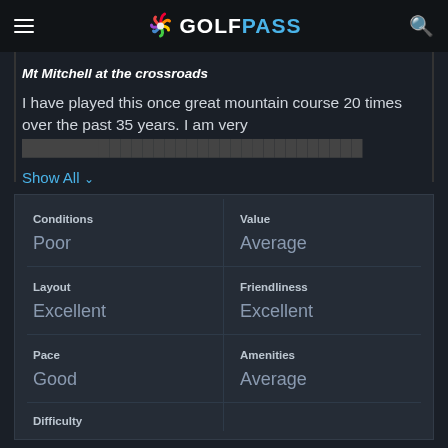GOLFPASS
Mt Mitchell at the crossroads
I have played this once great mountain course 20 times over the past 35 years. I am very
Show All
| Category | Rating |
| --- | --- |
| Conditions | Poor |
| Value | Average |
| Layout | Excellent |
| Friendliness | Excellent |
| Pace | Good |
| Amenities | Average |
| Difficulty |  |